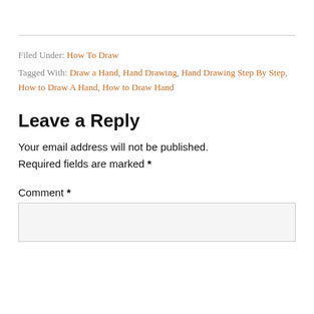Filed Under: How To Draw
Tagged With: Draw a Hand, Hand Drawing, Hand Drawing Step By Step, How to Draw A Hand, How to Draw Hand
Leave a Reply
Your email address will not be published. Required fields are marked *
Comment *